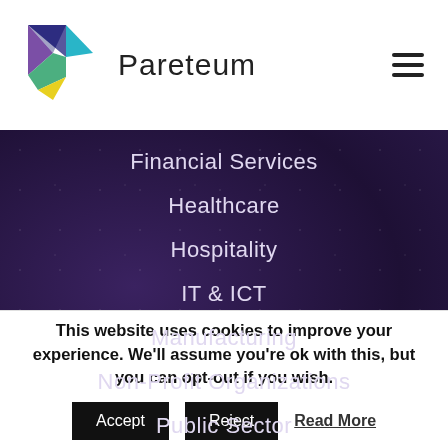[Figure (logo): Pareteum logo with colorful geometric arrow/chevron shape and 'Pareteum' text]
Financial Services
Healthcare
Hospitality
IT & ICT
Manufacturing
Non-Profit Organizations
Public Sector
Telecom & CSP
This website uses cookies to improve your experience. We'll assume you're ok with this, but you can opt-out if you wish.
Accept   Reject   Read More